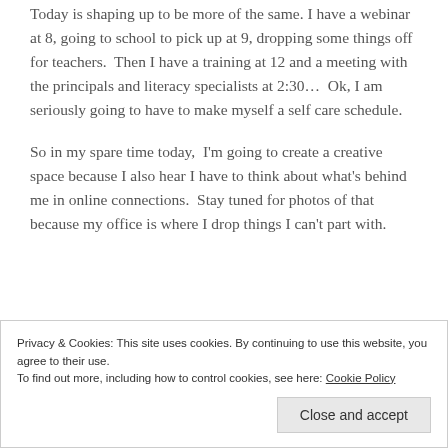Today is shaping up to be more of the same. I have a webinar at 8, going to school to pick up at 9, dropping some things off for teachers.  Then I have a training at 12 and a meeting with the principals and literacy specialists at 2:30...  Ok, I am seriously going to have to make myself a self care schedule.
So in my spare time today,  I'm going to create a creative space because I also hear I have to think about what's behind me in online connections.  Stay tuned for photos of that because my office is where I drop things I can't part with.
Privacy & Cookies: This site uses cookies. By continuing to use this website, you agree to their use.
To find out more, including how to control cookies, see here: Cookie Policy
Close and accept